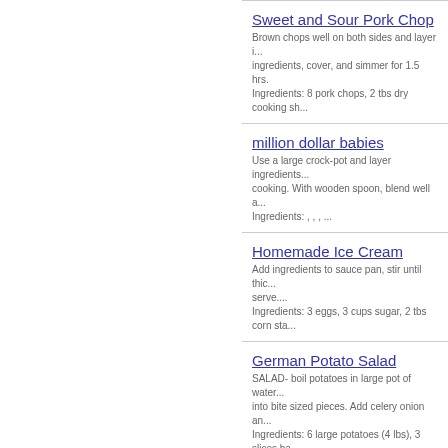Sweet and Sour Pork Chop
Brown chops well on both sides and layer i... ingredients, cover, and simmer for 1.5 hrs.
Ingredients: 8 pork chops, 2 tbs dry cooking sh...
million dollar babies
Use a large crock-pot and layer ingredients... cooking. With wooden spoon, blend well a...
Ingredients: , , , ...
Homemade Ice Cream
Add ingredients to sauce pan, stir until thic... serve....
Ingredients: 3 eggs, 3 cups sugar, 2 tbs corn sta...
German Potato Salad
SALAD- boil potatoes in large pot of water... into bite sized pieces. Add celery onion an...
Ingredients: 6 large potatoes (4 lbs), 3 slices ba...
Deviled Eggs
App...
...
Ingredients: 12 eggs hard boiled, 1/4 cup mayo...
Potato Dumplings
Boil potatos, let cool rice potato into large b... remaining ingredients mix together, form ba...
Ingredients: 12 med potato, 4 slices bread, 2 tbs...